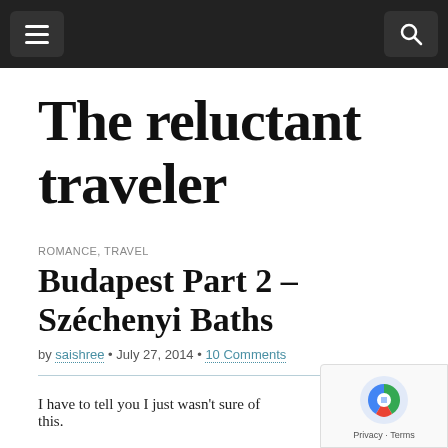navigation bar with menu and search buttons
The reluctant traveler
ROMANCE, TRAVEL
Budapest Part 2 – Széchenyi Baths
by saishree • July 27, 2014 • 10 Comments
I have to tell you I just wasn't sure of this.